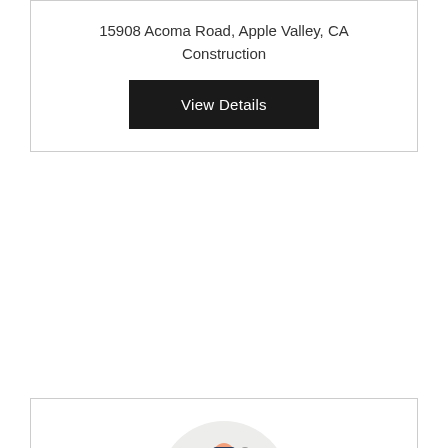15908 Acoma Road, Apple Valley, CA
Construction
View Details
[Figure (illustration): Plumber/handyman cartoon figure holding a toolbox and wrench, inside a light gray circle avatar]
Alex & Martin S Plumbing Inc
12620 Mar Vista Drive, Apple Valley, CA
Construction